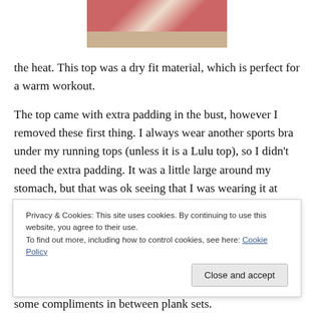[Figure (photo): Partial photo of a person wearing a striped running top, cropped at the top of the page.]
the heat. This top was a dry fit material, which is perfect for a warm workout.
The top came with extra padding in the bust, however I removed these first thing. I always wear another sports bra under my running tops (unless it is a Lulu top), so I didn't need the extra padding. It was a little large around my stomach, but that was ok seeing that I was wearing it at
Privacy & Cookies: This site uses cookies. By continuing to use this website, you agree to their use.
To find out more, including how to control cookies, see here: Cookie Policy
some compliments in between plank sets.